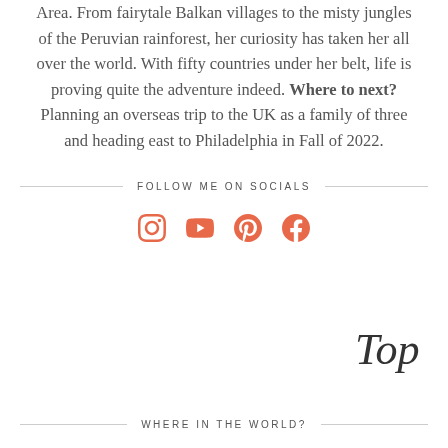Area. From fairytale Balkan villages to the misty jungles of the Peruvian rainforest, her curiosity has taken her all over the world. With fifty countries under her belt, life is proving quite the adventure indeed. Where to next? Planning an overseas trip to the UK as a family of three and heading east to Philadelphia in Fall of 2022.
FOLLOW ME ON SOCIALS
[Figure (other): Social media icons: Instagram, YouTube, Pinterest, Facebook in coral/salmon color]
[Figure (other): Handwritten script 'Top' signature/logo]
WHERE IN THE WORLD?